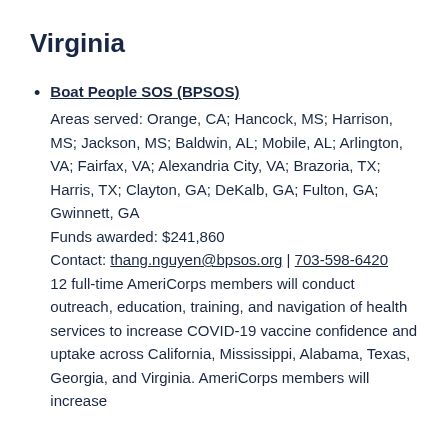Virginia
Boat People SOS (BPSOS)
Areas served: Orange, CA; Hancock, MS; Harrison, MS; Jackson, MS; Baldwin, AL; Mobile, AL; Arlington, VA; Fairfax, VA; Alexandria City, VA; Brazoria, TX; Harris, TX; Clayton, GA; DeKalb, GA; Fulton, GA; Gwinnett, GA
Funds awarded: $241,860
Contact: thang.nguyen@bpsos.org | 703-598-6420
12 full-time AmeriCorps members will conduct outreach, education, training, and navigation of health services to increase COVID-19 vaccine confidence and uptake across California, Mississippi, Alabama, Texas, Georgia, and Virginia. AmeriCorps members will increase